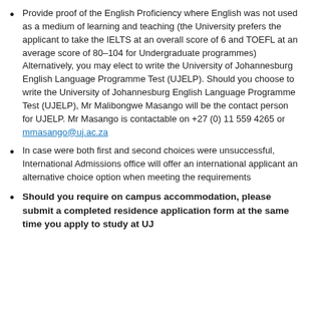Provide proof of the English Proficiency where English was not used as a medium of learning and teaching (the University prefers the applicant to take the IELTS at an overall score of 6 and TOEFL at an average score of 80–104 for Undergraduate programmes) Alternatively, you may elect to write the University of Johannesburg English Language Programme Test (UJELP). Should you choose to write the University of Johannesburg English Language Programme Test (UJELP), Mr Malibongwe Masango will be the contact person for UJELP. Mr Masango is contactable on +27 (0) 11 559 4265 or mmasango@uj.ac.za
In case were both first and second choices were unsuccessful, International Admissions office will offer an international applicant an alternative choice option when meeting the requirements
Should you require on campus accommodation, please submit a completed residence application form at the same time you apply to study at UJ